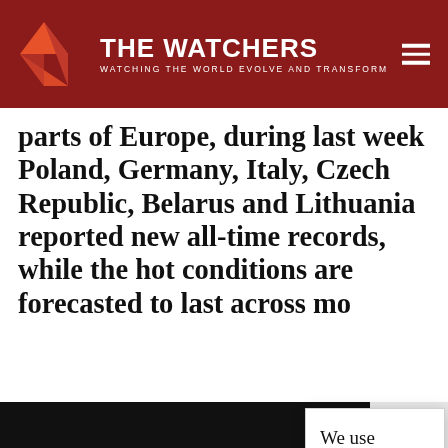THE WATCHERS — WATCHING THE WORLD EVOLVE AND TRANSFORM
parts of Europe, during last week Poland, Germany, Italy, Czech Republic, Belarus and Lithuania reported new all-time records, while the hot conditions are forecasted to last across mo
[Figure (photo): Satellite image showing cloud formations over a landmass, green terrain visible]
We use cookies on our website to give you the most relevant experience by remembering your preferences and repeat visits. By clicking “Accept”, you consent to the use of ALL the cookies.
Do not sell my personal information.